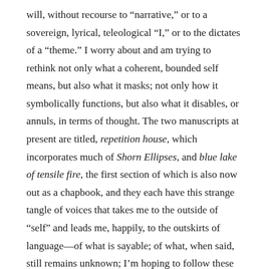will, without recourse to “narrative,” or to a sovereign, lyrical, teleological “I,” or to the dictates of a “theme.” I worry about and am trying to rethink not only what a coherent, bounded self means, but also what it masks; not only how it symbolically functions, but also what it disables, or annuls, in terms of thought. The two manuscripts at present are titled, repetition house, which incorporates much of Shorn Ellipses, and blue lake of tensile fire, the first section of which is also now out as a chapbook, and they each have this strange tangle of voices that takes me to the outside of “self” and leads me, happily, to the outskirts of language—of what is sayable; of what, when said, still remains unknown; I’m hoping to follow these voices, and listen along with them, and find moments at the edges of our worlds to get it all